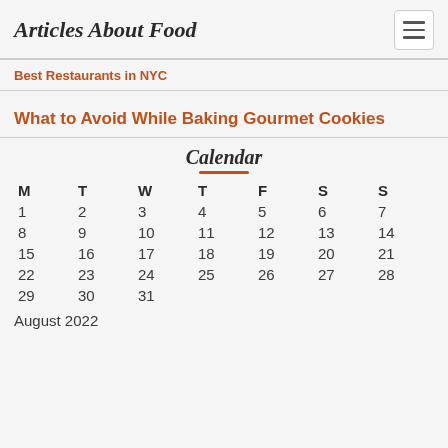Articles About Food
Best Restaurants in NYC
What to Avoid While Baking Gourmet Cookies
Calendar
| M | T | W | T | F | S | S |
| --- | --- | --- | --- | --- | --- | --- |
| 1 | 2 | 3 | 4 | 5 | 6 | 7 |
| 8 | 9 | 10 | 11 | 12 | 13 | 14 |
| 15 | 16 | 17 | 18 | 19 | 20 | 21 |
| 22 | 23 | 24 | 25 | 26 | 27 | 28 |
| 29 | 30 | 31 |  |  |  |  |
August 2022